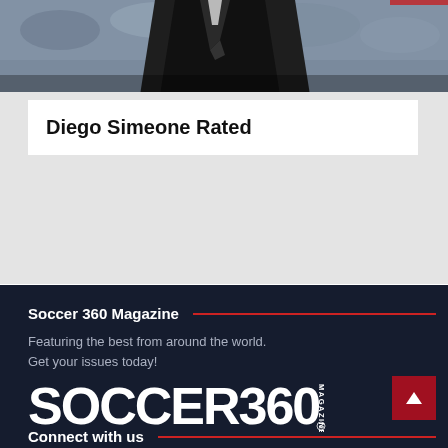[Figure (photo): Photo of a man in a dark suit, likely Diego Simeone, with a crowd visible in the background.]
Diego Simeone Rated
Soccer 360 Magazine
Featuring the best from around the world.
Get your issues today!
[Figure (logo): Soccer 360 Magazine logo — large bold white text 'SOCCER360' with 'MAGAZINE' in vertical small text on the right.]
Connect with us